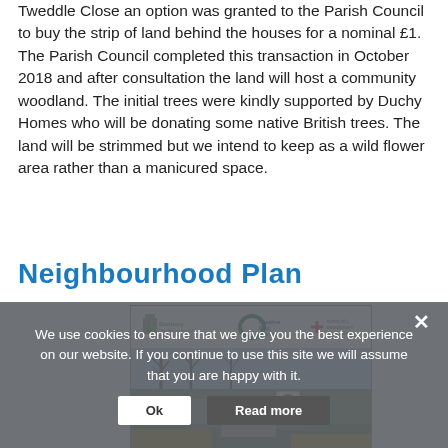Tweddle Close an option was granted to the Parish Council to buy the strip of land behind the houses for a nominal £1. The Parish Council completed this transaction in October 2018 and after consultation the land will host a community woodland. The initial trees were kindly supported by Duchy Homes who will be donating some native British trees. The land will be strimmed but we intend to keep as a wild flower area rather than a manicured space.
Neighbourhood Plan
[Figure (screenshot): Screenshot of the Bunbury Neighbourhood Plan webpage showing the Bunbury Neighbourhood Plan, Cheshire East Council and Community Development Foundation logos at the top, followed by a photo of a rural village scene with bare trees, grass, daffodils and a speed limit sign.]
We use cookies to ensure that we give you the best experience on our website. If you continue to use this site we will assume that you are happy with it.